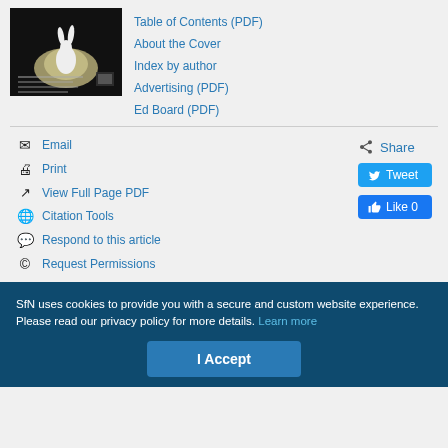[Figure (photo): Journal cover showing a white rabbit silhouette against a dark background with a glowing circle]
Table of Contents (PDF)
About the Cover
Index by author
Advertising (PDF)
Ed Board (PDF)
Email
Print
View Full Page PDF
Citation Tools
Respond to this article
Request Permissions
Share
Tweet
Like 0
SfN uses cookies to provide you with a secure and custom website experience. Please read our privacy policy for more details. Learn more
I Accept